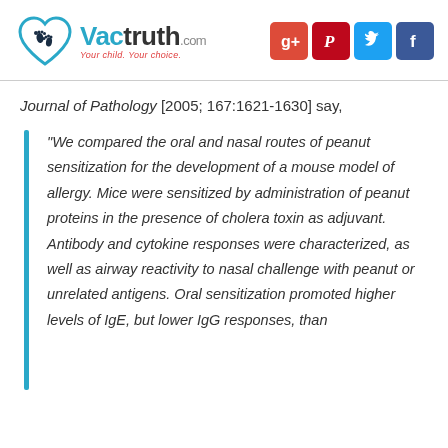Vactruth.com — Your child. Your choice.
Journal of Pathology [2005; 167:1621-1630] say,
“We compared the oral and nasal routes of peanut sensitization for the development of a mouse model of allergy. Mice were sensitized by administration of peanut proteins in the presence of cholera toxin as adjuvant. Antibody and cytokine responses were characterized, as well as airway reactivity to nasal challenge with peanut or unrelated antigens. Oral sensitization promoted higher levels of IgE, but lower IgG responses, than